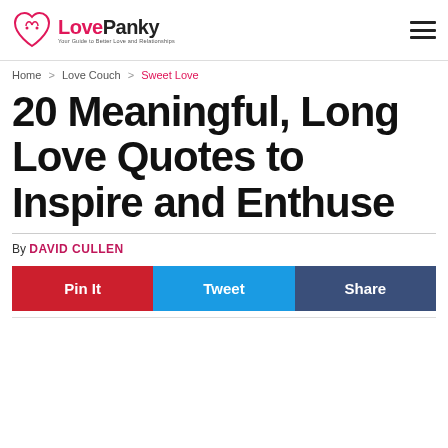LovePanky — Your Guide to Better Love and Relationships
Home > Love Couch > Sweet Love
20 Meaningful, Long Love Quotes to Inspire and Enthuse
By DAVID CULLEN
Pin It | Tweet | Share